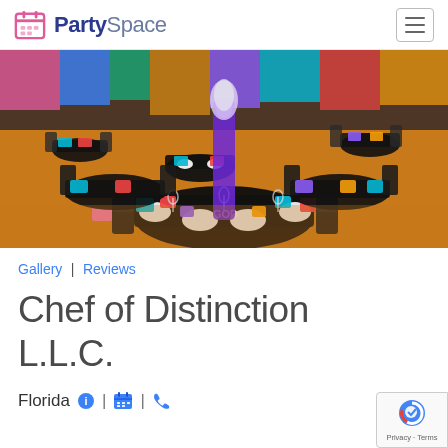PartySpace
[Figure (photo): Colorful banquet hall with black round tables, multicolored napkins (teal, red, orange, purple, green, pink), black chiavari chairs, wine glasses, white plates, and a tall purple vase centerpiece. Tables arranged throughout a large event space with colorful draping in the background.]
Gallery | Reviews
Chef of Distinction L.L.C.
Florida  |  |